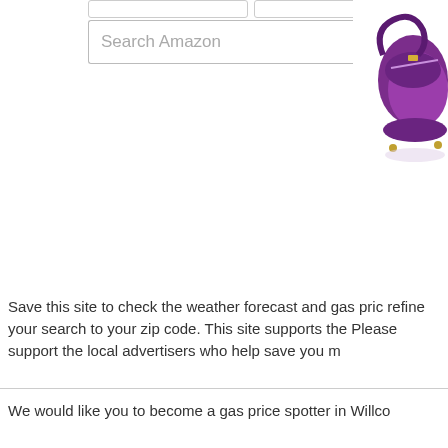[Figure (screenshot): Amazon search bar with text 'Search Amazon' and a grey 'Go' button. Below is 'Ads by Amazon' with a blue arrow icon. To the right is a partially visible purple handbag/purse product image.]
Save this site to check the weather forecast and gas pric refine your search to your zip code. This site supports the Please support the local advertisers who help save you m
We would like you to become a gas price spotter in Willco